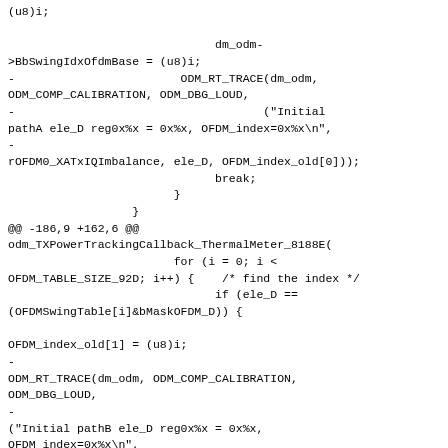(u8)i;

                              dm_odm-
>BbSwingIdxOfdmBase = (u8)i;
-                        ODM_RT_TRACE(dm_odm,
ODM_COMP_CALIBRATION, ODM_DBG_LOUD,
-                                    ("Initial
pathA ele_D reg0x%x = 0x%x, OFDM_index=0x%x\n",
-
rOFDM0_XATxIQImbalance, ele_D, OFDM_index_old[0]));
                              break;
                        }
                  }
@@ -186,9 +162,6 @@
odm_TXPowerTrackingCallback_ThermalMeter_8188E(
                        for (i = 0; i <
OFDM_TABLE_SIZE_92D; i++) {    /* find the index */
                              if (ele_D ==
(OFDMSwingTable[i]&bMaskOFDM_D)) {

OFDM_index_old[1] = (u8)i;
-
ODM_RT_TRACE(dm_odm, ODM_COMP_CALIBRATION,
ODM_DBG_LOUD,
-
("Initial pathB ele_D reg0x%x = 0x%x,
OFDM_index=0x%x\n",
-
rOFDM0_XBTxIQImbalance, ele_D, OFDM_index_old[1]));
                                    break;
                        }